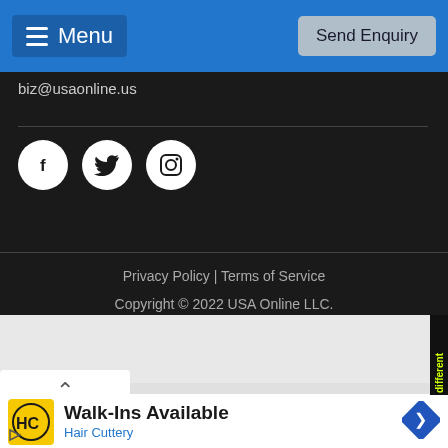Menu | Send Enquiry
biz@usaonline.us
[Figure (illustration): Three social media icon circles: Facebook (f), Twitter (bird), Instagram (camera)]
Privacy Policy | Terms of Service
Copyright © 2022 USA Online LLC.
[Figure (screenshot): Gray advertisement area with a yellow side tab reading 'are different' vertically, and a chevron dropdown button]
[Figure (illustration): Hair Cuttery ad: yellow HC logo, Walk-Ins Available text, Hair Cuttery in blue, blue diamond navigation arrow icon]